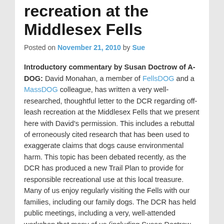recreation at the Middlesex Fells
Posted on November 21, 2010 by Sue
Introductory commentary by Susan Doctrow of A-DOG: David Monahan, a member of FellsDOG and a MassDOG colleague, has written a very well-researched, thoughtful letter to the DCR regarding off-leash recreation at the Middlesex Fells that we present here with David's permission. This includes a rebuttal of erroneously cited research that has been used to exaggerate claims that dogs cause environmental harm. This topic has been debated recently, as the DCR has produced a new Trail Plan to provide for responsible recreational use at this local treasure. Many of us enjoy regularly visiting the Fells with our families, including our family dogs. The DCR has held public meetings, including a very, well-attended workshop that many of us (including Susan Doctrow and Ann Smith of A-DOG) were pleased to participate in.Å MassDOG member groups, particularly from Somerville and Melrose have been very active in this effort. Also